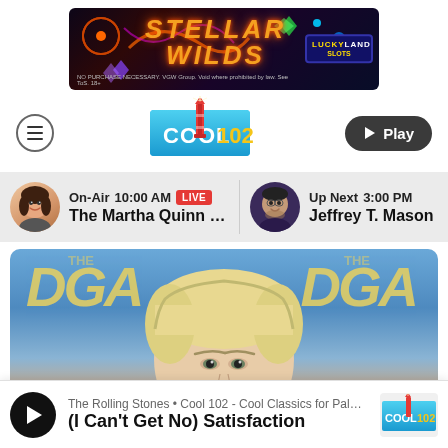[Figure (screenshot): Stellar Wilds advertisement banner for LuckyLand Slots with colorful space/casino theme. Text: STELLAR WILDS, NO PURCHASE NECESSARY. VGW Group. Void where prohibited by law. See ToS. 18+]
[Figure (logo): Cool 102 radio station logo with lighthouse]
[Figure (screenshot): On-Air schedule bar showing: On-Air 10:00 AM LIVE - The Martha Quinn Sho... | Up Next 3:00 PM - Jeffrey T. Mason]
[Figure (photo): Close-up photo of a blonde woman at DGA awards event with blue DGA backdrop]
[Figure (screenshot): Now playing bar: The Rolling Stones • Cool 102 - Cool Classics for Palm... | (I Can't Get No) Satisfaction]